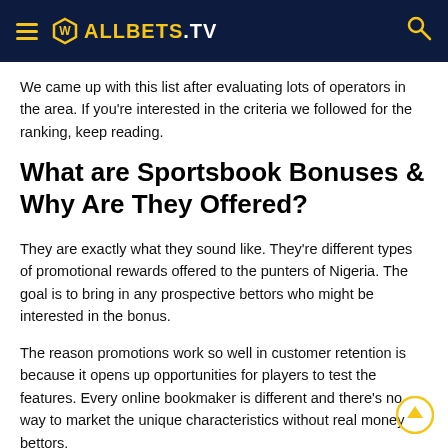ALLBETS.TV
We came up with this list after evaluating lots of operators in the area. If you're interested in the criteria we followed for the ranking, keep reading.
What are Sportsbook Bonuses & Why Are They Offered?
They are exactly what they sound like. They're different types of promotional rewards offered to the punters of Nigeria. The goal is to bring in any prospective bettors who might be interested in the bonus.
The reason promotions work so well in customer retention is because it opens up opportunities for players to test the features. Every online bookmaker is different and there's no way to market the unique characteristics without real money bettors.